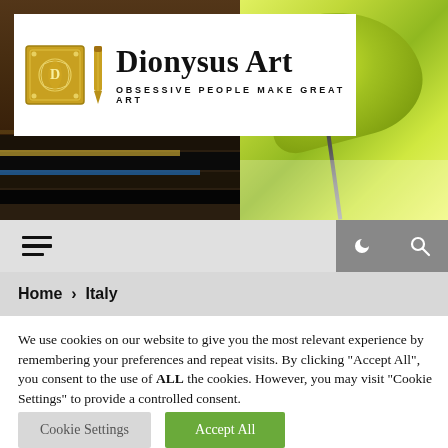[Figure (screenshot): Website header banner showing art supplies (pencils/markers on wooden table on left, green leaf with paintbrush on right)]
[Figure (logo): Dionysus Art logo — gold ornate emblem, gold pen, bold serif text 'Dionysus Art', subtitle 'OBSESSIVE PEOPLE MAKE GREAT ART']
≡  🌙  🔍
Home > Italy
We use cookies on our website to give you the most relevant experience by remembering your preferences and repeat visits. By clicking "Accept All", you consent to the use of ALL the cookies. However, you may visit "Cookie Settings" to provide a controlled consent.
Cookie Settings   Accept All